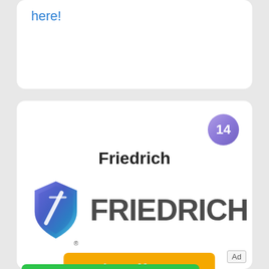here!
[Figure (logo): Friedrich brand logo card with shield icon, FRIEDRICH wordmark, and Learn More button]
14
Friedrich
Learn More →
OPEN
Unlock Essential Insights
Ad